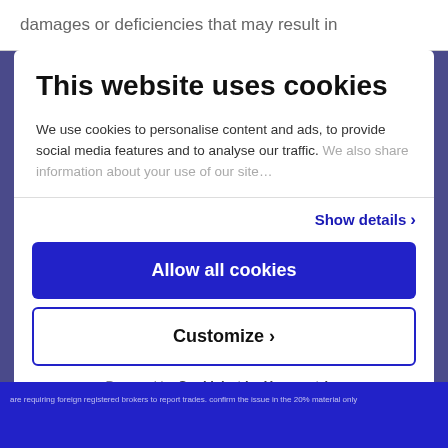damages or deficiencies that may result in
This website uses cookies
We use cookies to personalise content and ads, to provide social media features and to analyse our traffic. We also share information about your use of our site
Show details ›
Allow all cookies
Customize ›
Powered by Cookiebot by Usercentrics